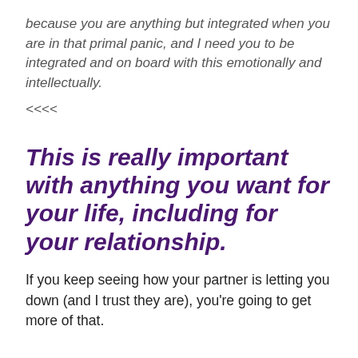because you are anything but integrated when you are in that primal panic, and I need you to be integrated and on board with this emotionally and intellectually.
<<<<
This is really important with anything you want for your life, including for your relationship.
If you keep seeing how your partner is letting you down (and I trust they are), you're going to get more of that.